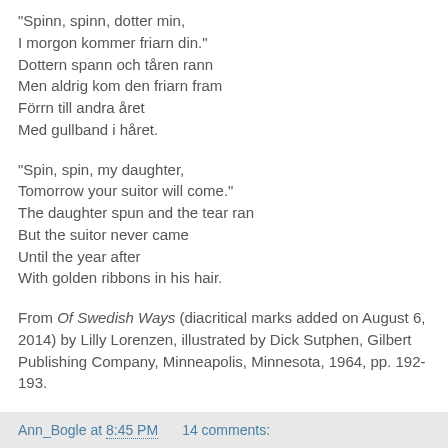"Spinn, spinn, dotter min,
I morgon kommer friarn din."
Dottern spann och tåren rann
Men aldrig kom den friarn fram
Förrn till andra året
Med gullband i håret.
"Spin, spin, my daughter,
Tomorrow your suitor will come."
The daughter spun and the tear ran
But the suitor never came
Until the year after
With golden ribbons in his hair.
From Of Swedish Ways (diacritical marks added on August 6, 2014) by Lilly Lorenzen, illustrated by Dick Sutphen, Gilbert Publishing Company, Minneapolis, Minnesota, 1964, pp. 192-193.
Ann_Bogle at 8:45 PM    14 comments: